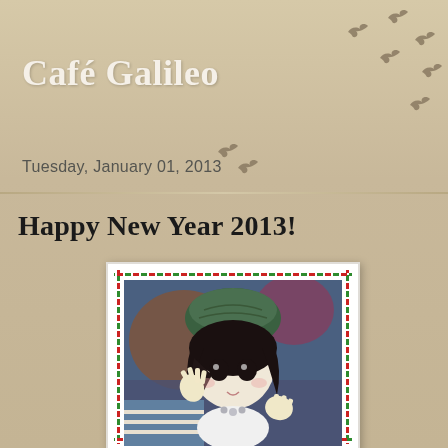Café Galileo
Tuesday, January 01, 2013
Happy New Year 2013!
[Figure (photo): A ball-jointed doll with dark hair and a green knit hat, wearing a white outfit with silver ball necklace, waving its hands toward the camera. The photo is framed with a white border and red-green dashed decorative border, holiday-themed.]